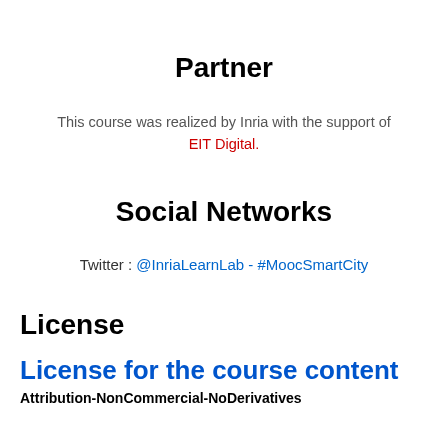Partner
This course was realized by Inria with the support of EIT Digital.
Social Networks
Twitter : @InriaLearnLab - #MoocSmartCity
License
License for the course content
Attribution-NonCommercial-NoDerivatives